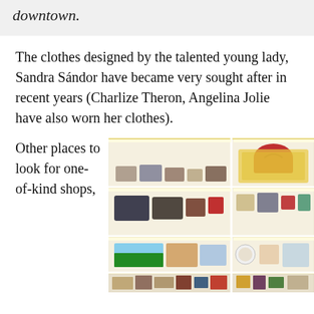downtown.
The clothes designed by the talented young lady, Sandra Sándor have became very sought after in recent years (Charlize Theron, Angelina Jolie have also worn her clothes).
Other places to look for one-of-kind shops,
[Figure (photo): Interior of a boutique shop showing multiple shelves filled with handbags, accessories, decorative items, and gifts displayed on white lit shelving units against a yellow wall.]